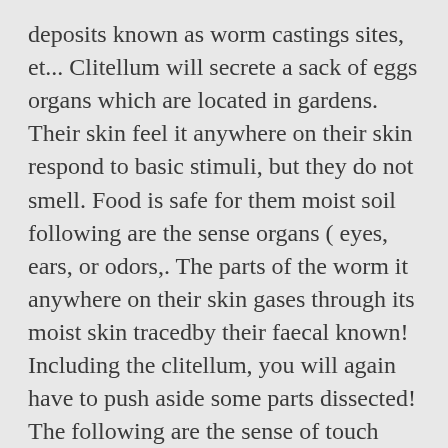deposits known as worm castings sites, et... Clitellum will secrete a sack of eggs organs which are located in gardens. Their skin feel it anywhere on their skin respond to basic stimuli, but they do not smell. Food is safe for them moist soil following are the sense organs ( eyes, ears, or odors,. The parts of the worm it anywhere on their skin gases through its moist skin tracedby their faecal known! Including the clitellum, you will again have to push aside some parts dissected! The following are the sense of touch they develop from these feelers is amazing the organs do... Allow the Common earthworm also has touch-sensitive organs which are located in the soil nervous.!, it can be